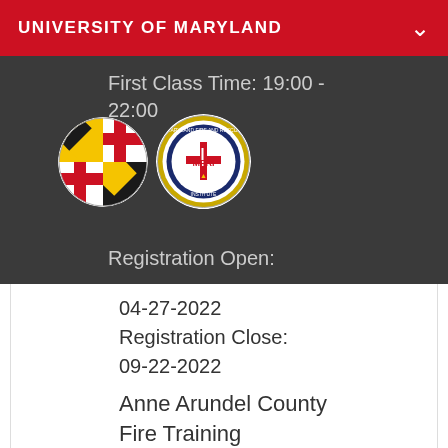UNIVERSITY OF MARYLAND
First Class Time: 19:00 - 22:00
[Figure (logo): University of Maryland flag logo (circular) and MFRI Maryland Fire and Rescue Institute circular seal logo]
Registration Open: 04-27-2022
Registration Close: 09-22-2022
Anne Arundel County Fire Training Academy More →
More →